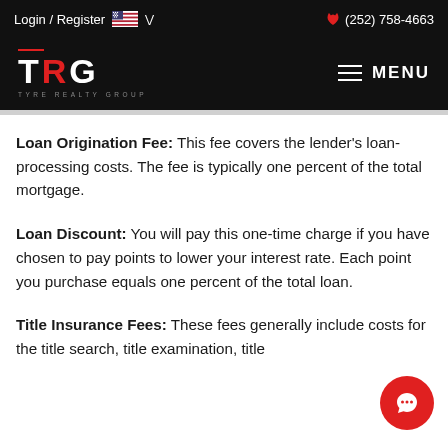Login / Register   (252) 758-4663
[Figure (logo): TRG Tyre Realty Group logo with hamburger menu icon and MENU text]
Loan Origination Fee: This fee covers the lender's loan-processing costs. The fee is typically one percent of the total mortgage.
Loan Discount: You will pay this one-time charge if you have chosen to pay points to lower your interest rate. Each point you purchase equals one percent of the total loan.
Title Insurance Fees: These fees generally include costs for the title search, title examination, title